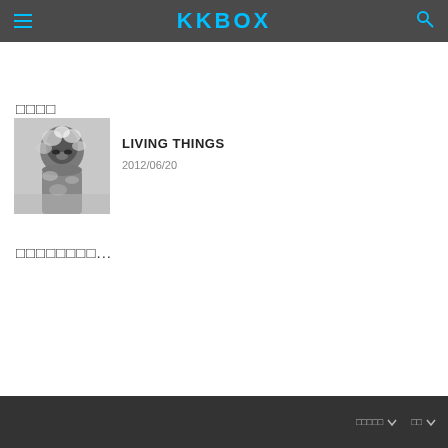KKBOX
□□□□
[Figure (photo): Album art thumbnail for LIVING THINGS - grayscale image of a figure covered in white material/snow]
LIVING THINGS
2012/06/20
□□□□□□□□...
□□□□□ ∨  □□ ∨